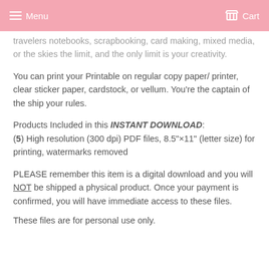Menu   Cart
travelers notebooks, scrapbooking, card making, mixed media, or the skies the limit, and the only limit is your creativity.
You can print your Printable on regular copy paper/ printer, clear sticker paper, cardstock, or vellum. You’re the captain of the ship your rules.
Products Included in this INSTANT DOWNLOAD:
(5) High resolution (300 dpi) PDF files, 8.5”x11” (letter size) for printing, watermarks removed
PLEASE remember this item is a digital download and you will NOT be shipped a physical product. Once your payment is confirmed, you will have immediate access to these files.
These files are for personal use only.